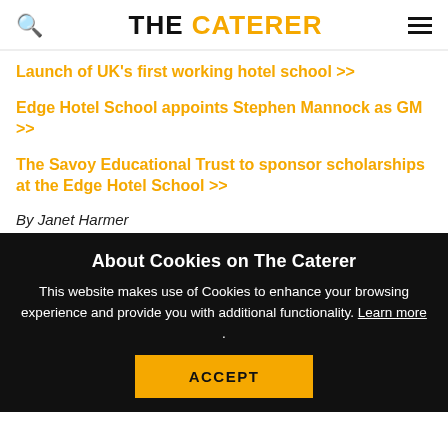THE CATERER
Launch of UK's first working hotel school >>
Edge Hotel School appoints Stephen Mannock as GM >>
The Savoy Educational Trust to sponsor scholarships at the Edge Hotel School >>
By Janet Harmer
About Cookies on The Caterer
This website makes use of Cookies to enhance your browsing experience and provide you with additional functionality. Learn more .
ACCEPT